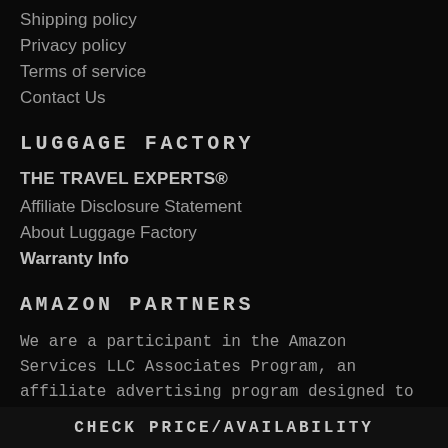Shipping policy
Privacy policy
Terms of service
Contact Us
LUGGAGE FACTORY
THE TRAVEL EXPERTS®
Affiliate Disclosure Statement
About Luggage Factory
Warranty Info
AMAZON PARTNERS
We are a participant in the Amazon Services LLC Associates Program, an affiliate advertising program designed to provide a means for us to
CHECK PRICE/AVAILABILITY